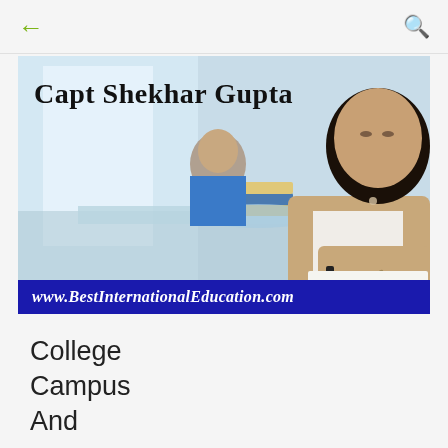← (back) | (search icon)
[Figure (photo): Students studying at desks in a bright classroom/library setting. A young woman in the foreground is writing, with other students behind her. Text overlay: 'Capt Shekhar Gupta' at top left. Blue banner at bottom: 'www.BestInternationalEducation.com']
College
Campus
And